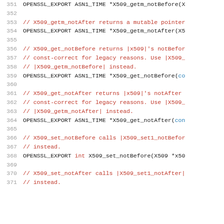351  OPENSSL_EXPORT ASN1_TIME *X509_getm_notBefore(X...
352  (blank)
353  // X509_getm_notAfter returns a mutable pointer...
354  OPENSSL_EXPORT ASN1_TIME *X509_getm_notAfter(X5...
355  (blank)
356  // X509_get_notBefore returns |x509|'s notBefor...
357  // const-correct for legacy reasons. Use |X509_...
358  // |X509_getm_notBefore| instead.
359  OPENSSL_EXPORT ASN1_TIME *X509_get_notBefore(co...
360  (blank)
361  // X509_get_notAfter returns |x509|'s notAfter ...
362  // const-correct for legacy reasons. Use |X509_...
363  // |X509_getm_notAfter| instead.
364  OPENSSL_EXPORT ASN1_TIME *X509_get_notAfter(con...
365  (blank)
366  // X509_set_notBefore calls |X509_set1_notBefor...
367  // instead.
368  OPENSSL_EXPORT int X509_set_notBefore(X509 *x50...
369  (blank)
370  // X509_set_notAfter calls |X509_set1_notAfter|...
371  // instead.